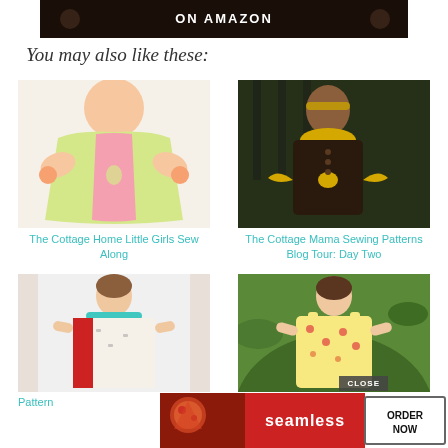[Figure (photo): Top banner with dark background and text ON AMAZON]
You may also like these:
[Figure (illustration): Illustrated little girl's dress in green and pink fabric pattern]
The Cottage Home Little Girls Sew Along
[Figure (photo): Girl in dark brown dress with yellow bow and collar, back view]
The Cottage Mama Sewing Patterns Blog Tour: Day Two
[Figure (photo): Girl in red and white pillowcase style dress]
Pattern
[Figure (photo): Girl in floral yellow/red dress outdoors]
ree PDF
[Figure (photo): Advertisement banner: Seamless food delivery with ORDER NOW button and pizza image]